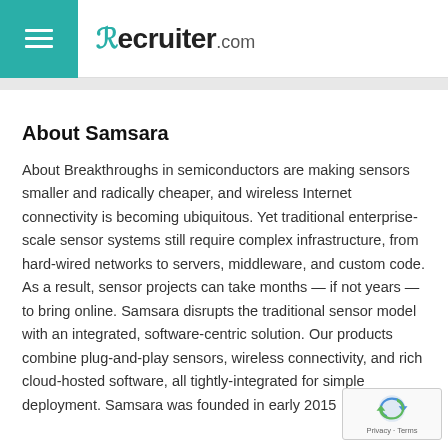Recruiter.com
About Samsara
About Breakthroughs in semiconductors are making sensors smaller and radically cheaper, and wireless Internet connectivity is becoming ubiquitous. Yet traditional enterprise-scale sensor systems still require complex infrastructure, from hard-wired networks to servers, middleware, and custom code. As a result, sensor projects can take months — if not years — to bring online. Samsara disrupts the traditional sensor model with an integrated, software-centric solution. Our products combine plug-and-play sensors, wireless connectivity, and rich cloud-hosted software, all tightly-integrated for simple deployment. Samsara was founded in early 2015